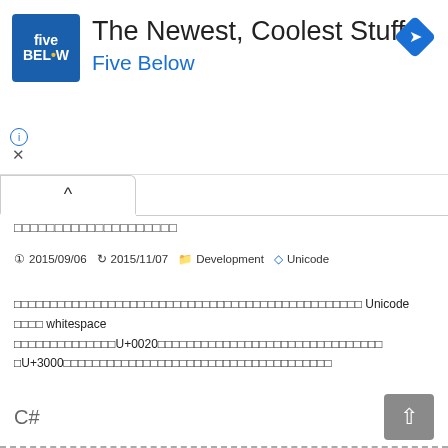[Figure (logo): Five Below advertisement banner with blue logo, title 'The Newest, Coolest Stuff', subtitle 'Five Below', and a blue diamond navigation icon]
□□□□□□□□□□□□□□□□□□□□
⊙ 2015/09/06  ↻ 2015/11/07  🗀 Development  🏷 Unicode
□□□□□□□□□□□□□□□□□□□□□□□□□□□□□□□□□□□□□□□□□□□□□□□□□□□□□ Unicode □□□□ whitespace □□□□□□□□□□□□□□U+0020□□□□□□□□□□□□□□□□□□□□□□□□□□□□□□□ □U+3000□□□□□□□□□□□□□□□□□□□□□□□□□□□□□□□□□□□□□
C#